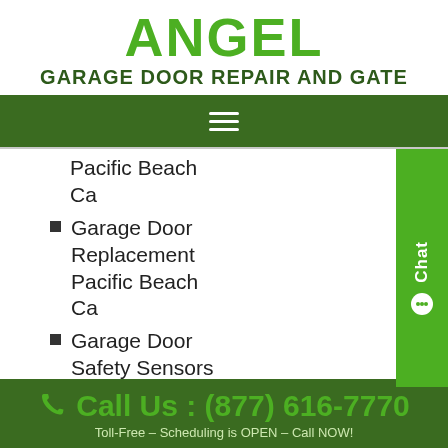ANGEL
GARAGE DOOR REPAIR AND GATE
[Figure (other): Green navigation bar with hamburger menu icon (three white horizontal lines)]
Pacific Beach Ca
Garage Door Replacement Pacific Beach Ca
Garage Door Safety Sensors Pacific Beach Ca
Garage Door
[Figure (other): Green Chat widget on right side with chat icon and 'Chat' text rotated vertically]
Call Us : (877) 616-7770
Toll-Free – Scheduling is OPEN – Call NOW!